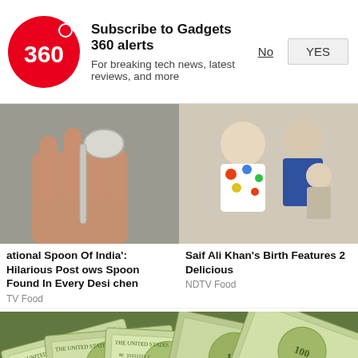[Figure (screenshot): Gadgets 360 logo — red circle with '360' text in white]
Subscribe to Gadgets 360 alerts
For breaking tech news, latest reviews, and more
No
YES
[Figure (photo): Hand holding a silver spoon]
[Figure (photo): People at a birthday celebration — woman in polka dot top with a man in blue shirt and a child]
ational Spoon Of India': Hilarious Post ows Spoon Found In Every Desi chen
TV Food
Saif Ali Khan's Birth Features 2 Delicious
NDTV Food
[Figure (photo): Close-up of US dollar bills fanned out]